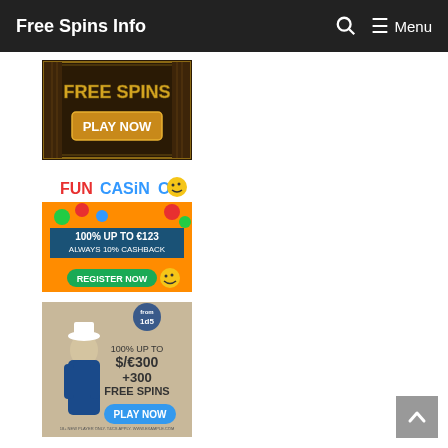Free Spins Info   🔍  ☰ Menu
[Figure (illustration): Casino ad banner: gold 'FREE SPINS' text with 'PLAY NOW' button on dark ornate background]
[Figure (illustration): Fun Casino ad banner: '100% UP TO €123, ALWAYS 10% CASHBACK, REGISTER NOW' on orange background with colorful balls]
[Figure (illustration): Casino ad banner: '100% UP TO $/€300 +300 FREE SPINS, PLAY NOW' with character in blue coat on beige background]